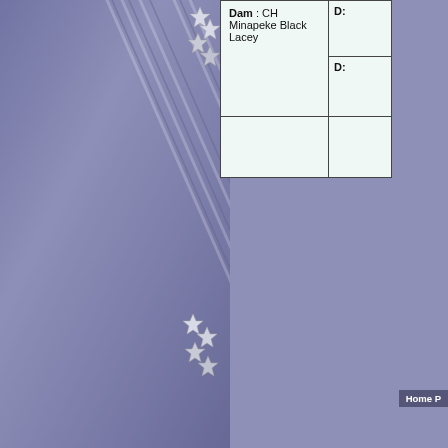[Figure (illustration): Left decorative spine with diagonal stripes and star/badge ornaments at three vertical positions, purple/blue textured background]
Dam : CH Minapeke Black Lacey
D:
D:
Home P
[Figure (illustration): Small dark rectangle button or tab element]
[Figure (illustration): Lavender/light purple rectangle content box]
[Figure (illustration): Horizontal gray bar/line element]